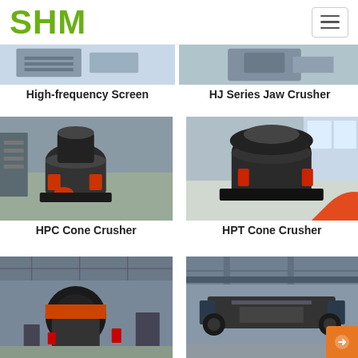SHM
[Figure (photo): High-frequency Screen industrial equipment, partially cropped at top]
High-frequency Screen
[Figure (photo): HJ Series Jaw Crusher industrial equipment in a factory, partially cropped at top]
HJ Series Jaw Crusher
[Figure (photo): HPC Cone Crusher large industrial cone crusher machine in factory setting with red accents]
HPC Cone Crusher
[Figure (photo): HPT Cone Crusher large industrial cone crusher machine in bright factory with large windows]
HPT Cone Crusher
[Figure (photo): Industrial mill machine in factory setting, bottom left, partially cropped]
[Figure (photo): Industrial crusher/conveyor equipment in factory setting, bottom right, partially cropped]